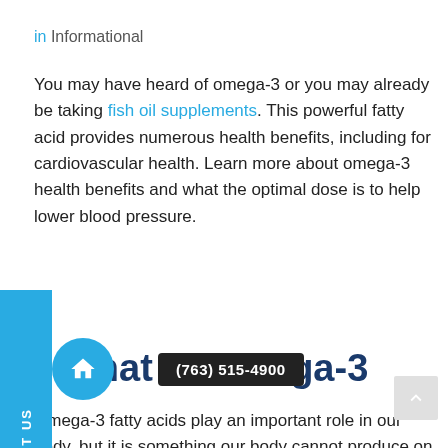in Informational
You may have heard of omega-3 or you may already be taking fish oil supplements. This powerful fatty acid provides numerous health benefits, including for cardiovascular health. Learn more about omega-3 health benefits and what the optimal dose is to help lower blood pressure.
What is Omega-3
Omega-3 fatty acids play an important role in our body, but it is something our body cannot produce on its own. It is essential that we get omega-3 fatty acids from the food we eat or take a supplement if we cannot get enough from food alone.